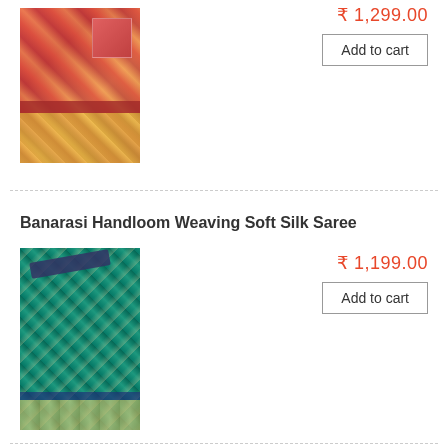[Figure (photo): A pink/red silk saree with golden border and floral embroidery patterns]
₹ 1,299.00
Add to cart
Banarasi Handloom Weaving Soft Silk Saree
[Figure (photo): A teal/green handloom silk saree with silver geometric woven patterns, a pen/pencil placed on top, with navy blue fabric behind]
₹ 1,199.00
Add to cart